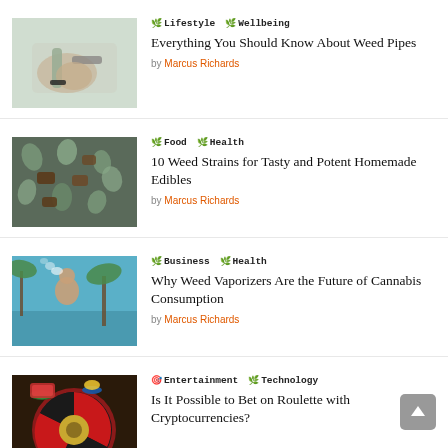[Figure (photo): Hand holding a cannabis pipe/vape pen]
🌿 Lifestyle   🌿 Wellbeing
Everything You Should Know About Weed Pipes
by Marcus Richards
[Figure (photo): Cannabis leaves and edibles on a dark background]
🌿 Food   🌿 Health
10 Weed Strains for Tasty and Potent Homemade Edibles
by Marcus Richards
[Figure (photo): Man vaping outdoors with palm trees in background]
🌿 Business   🌿 Health
Why Weed Vaporizers Are the Future of Cannabis Consumption
by Marcus Richards
[Figure (photo): Roulette wheel with colorful chips]
🎯 Entertainment   🌿 Technology
Is It Possible to Bet on Roulette with Cryptocurrencies?